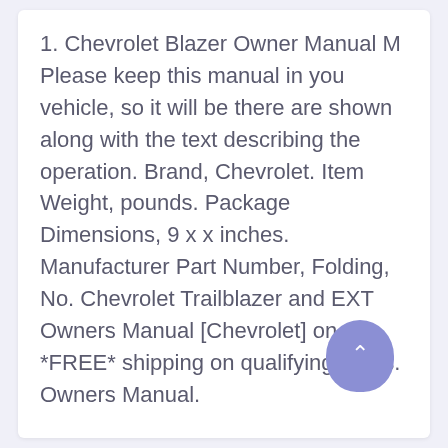1. Chevrolet Blazer Owner Manual M Please keep this manual in you vehicle, so it will be there are shown along with the text describing the operation. Brand, Chevrolet. Item Weight, pounds. Package Dimensions, 9 x x inches. Manufacturer Part Number, Folding, No. Chevrolet Trailblazer and EXT Owners Manual [Chevrolet] on *FREE* shipping on qualifying offers. Owners Manual.